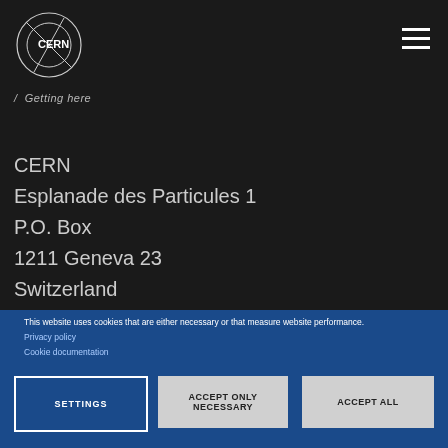[Figure (logo): CERN logo - circular design with CERN text and crossed lines on dark background]
/ Getting here
CERN
Esplanade des Particules 1
P.O. Box
1211 Geneva 23
Switzerland
This website uses cookies that are either necessary or that measure website performance.
Privacy policy
Cookie documentation
SETTINGS
ACCEPT ONLY NECESSARY
ACCEPT ALL